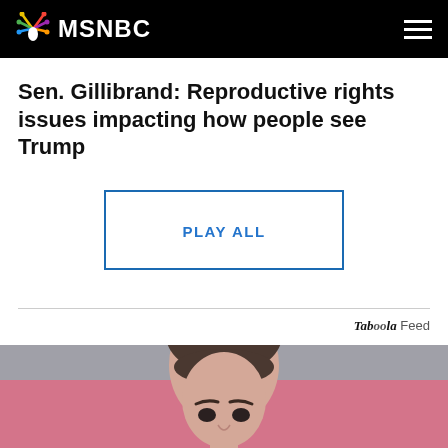MSNBC
Sen. Gillibrand: Reproductive rights issues impacting how people see Trump
[Figure (other): PLAY ALL button with blue border]
Taboola Feed
[Figure (photo): Close-up photo of a young woman with dark hair pulled up, bangs, looking forward seriously, pink background]